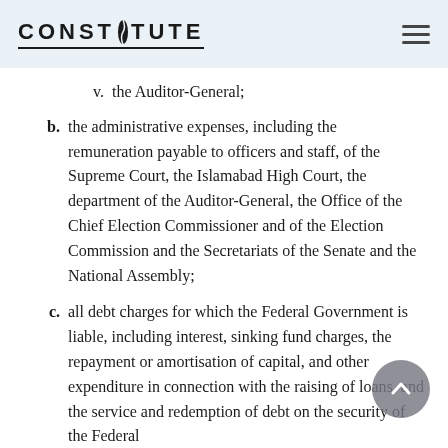CONSTITUTE
v. the Auditor-General;
b. the administrative expenses, including the remuneration payable to officers and staff, of the Supreme Court, the Islamabad High Court, the department of the Auditor-General, the Office of the Chief Election Commissioner and of the Election Commission and the Secretariats of the Senate and the National Assembly;
c. all debt charges for which the Federal Government is liable, including interest, sinking fund charges, the repayment or amortisation of capital, and other expenditure in connection with the raising of loans, and the service and redemption of debt on the security of the Federal